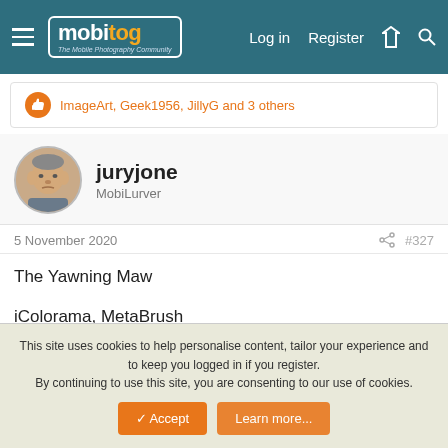mobitog - The Mobile Photography Community | Log in | Register
ImageArt, Geek1956, JillyG and 3 others
juryjone
MobiLurver
5 November 2020  #327
The Yawning Maw
iColorama, MetaBrush
Saying the title out loud makes me want to yawn.
This site uses cookies to help personalise content, tailor your experience and to keep you logged in if you register.
By continuing to use this site, you are consenting to our use of cookies.